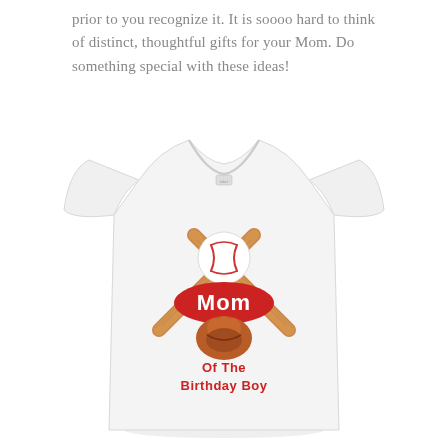prior to you recognize it. It is soooo hard to think of distinct, thoughtful gifts for your Mom. Do something special with these ideas!
[Figure (photo): White women's t-shirt with a baseball-themed graphic showing crossed wooden bats, a baseball, and a baseball glove, with a red oval badge reading 'Mom' and text below reading 'Of The Birthday Boy' in red.]